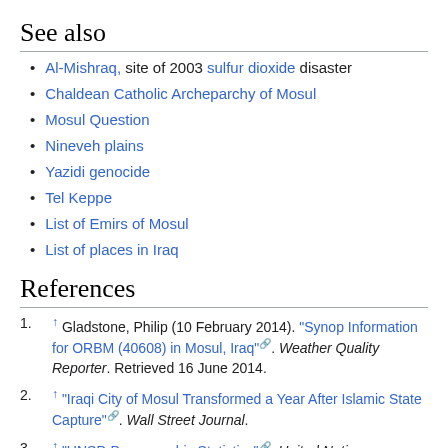See also
Al-Mishraq, site of 2003 sulfur dioxide disaster
Chaldean Catholic Archeparchy of Mosul
Mosul Question
Nineveh plains
Yazidi genocide
Tel Keppe
List of Emirs of Mosul
List of places in Iraq
References
↑ Gladstone, Philip (10 February 2014). "Synop Information for ORBM (40608) in Mosul, Iraq". Weather Quality Reporter. Retrieved 16 June 2014.
↑ "Iraqi City of Mosul Transformed a Year After Islamic State Capture". Wall Street Journal.
↑ "UNSD Demographic Statistics". United Nations Statistics Division 1987.
↑ Hawramy, Fazel; Harding, Luke (29 October 2016). "Iraqi and...